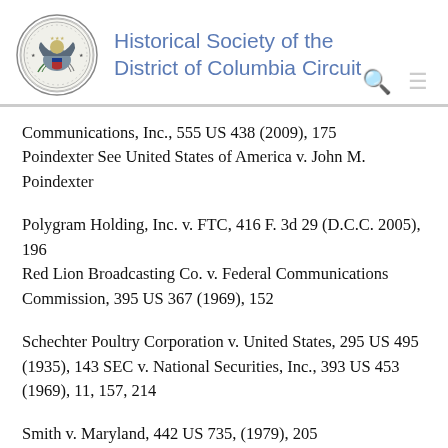Historical Society of the District of Columbia Circuit
Communications, Inc., 555 US 438 (2009), 175
Poindexter See United States of America v. John M. Poindexter
Polygram Holding, Inc. v. FTC, 416 F. 3d 29 (D.C.C. 2005), 196
Red Lion Broadcasting Co. v. Federal Communications Commission, 395 US 367 (1969), 152
Schechter Poultry Corporation v. United States, 295 US 495 (1935), 143 SEC v. National Securities, Inc., 393 US 453 (1969), 11, 157, 214
Smith v. Maryland, 442 US 735, (1979), 205